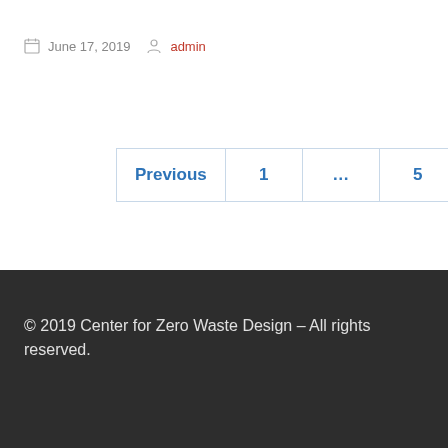June 17, 2019  admin
Previous  1  …  5  6
© 2019 Center for Zero Waste Design – All rights reserved.